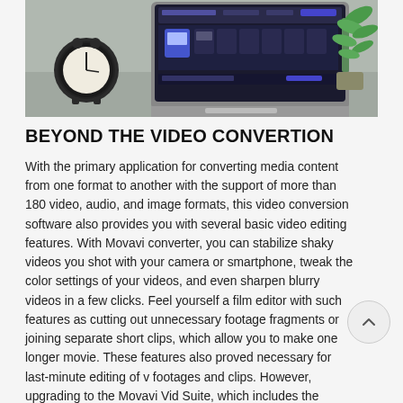[Figure (screenshot): Screenshot of Movavi video converter software interface displayed on a laptop/monitor, placed on a desk with an analog clock on the left and a green plant on the right.]
BEYOND THE VIDEO CONVERTION
With the primary application for converting media content from one format to another with the support of more than 180 video, audio, and image formats, this video conversion software also provides you with several basic video editing features. With Movavi converter, you can stabilize shaky videos you shot with your camera or smartphone, tweak the color settings of your videos, and even sharpen blurry videos in a few clicks. Feel yourself a film editor with such features as cutting out unnecessary footage fragments or joining separate short clips, which allow you to make one longer movie. These features also proved necessary for last-minute editing of v footages and clips. However, upgrading to the Movavi Vid Suite, which includes the converter application, enables y make transitions between the scenes more stylish and use more than 80 various visual effects available to practice a creative approach to editing videos.